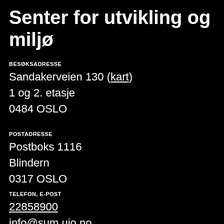Senter for utvikling og miljø
BESØKSADRESSE
Sandakerveien 130 (kart)
1 og 2. etasje
0484 OSLO
POSTADRESSE
Postboks 1116
Blindern
0317 OSLO
TELEFON, E-POST
22858900
info@sum.uio.no